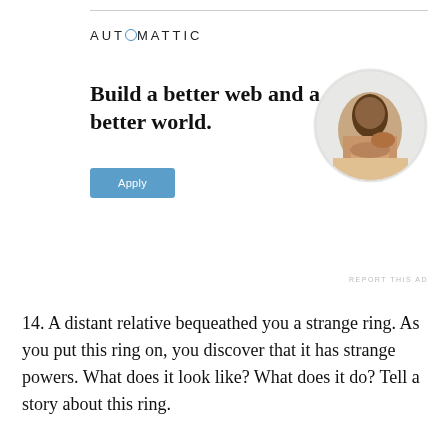[Figure (logo): Automattic logo with circular 'O' icon and spaced letter text]
Build a better web and a better world.
[Figure (photo): Circular cropped photo of a man sitting at a desk, resting chin on hand, looking thoughtful]
REPORT THIS AD
14. A distant relative bequeathed you a strange ring.  As you put this ring on, you discover that it has strange powers.  What does it look like? What does it do?  Tell a story about this ring.